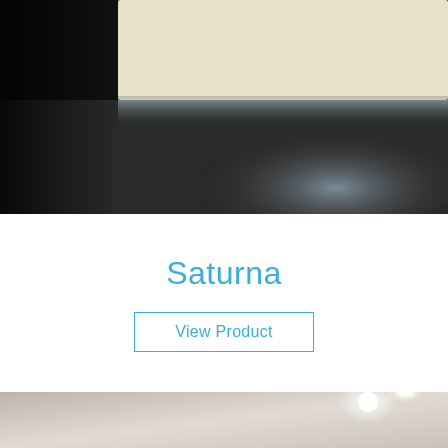[Figure (photo): Close-up photograph of a backlit mirror or illuminated panel mounted on a wall, with dark background and light glow emanating from behind the rectangular cream/beige panel. The bottom half shows a smooth dark surface with a soft white light glow.]
Saturna
View Product
[Figure (photo): Photograph showing a ceiling with a recessed spotlight emitting a bright white light, with light spilling onto a smooth light-colored ceiling surface. Partially cropped at the bottom of the page.]